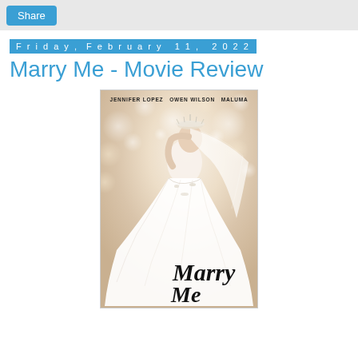Share
Friday, February 11, 2022
Marry Me - Movie Review
[Figure (photo): Movie poster for 'Marry Me' featuring a woman in a large white bridal gown with veil and tiara. Credits at top: JENNIFER LOPEZ  OWEN WILSON  MALUMA. Title 'Marry Me' in large italic serif font at bottom of poster.]